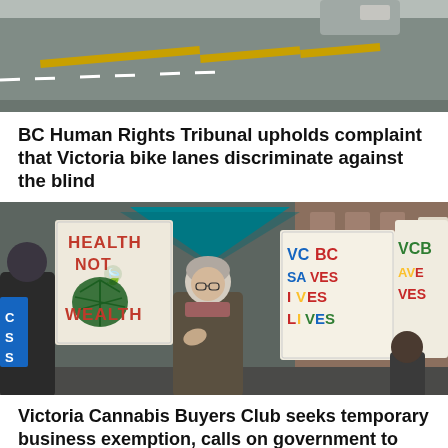[Figure (photo): Aerial or street-level photo of a road with bike lane markings in yellow/orange]
BC Human Rights Tribunal upholds complaint that Victoria bike lanes discriminate against the blind
[Figure (photo): Protest scene with people holding signs reading 'HEALTH NOT WEALTH' with cannabis leaf imagery, and 'VCBC SAVES LIVES' signs. A woman with grey hair and glasses speaks in the center.]
Victoria Cannabis Buyers Club seeks temporary business exemption, calls on government to review